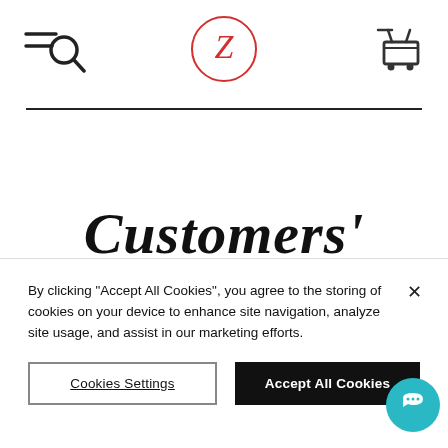Navigation header with search icon, Z logo, and cart icon
Customers' Testimonials
Stories from real people, real artists. Read what they have to say about our
By clicking "Accept All Cookies", you agree to the storing of cookies on your device to enhance site navigation, analyze site usage, and assist in our marketing efforts.